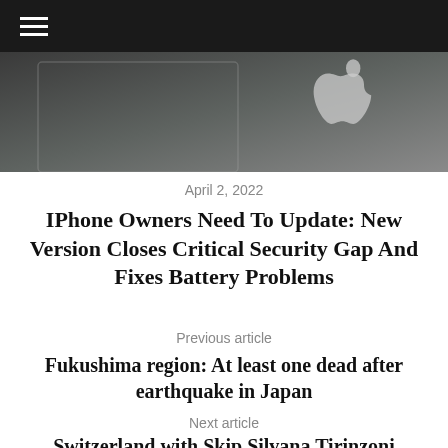≡
[Figure (photo): Apple MacBook or device with Apple logo visible in grayscale/dark background]
April 2, 2022
IPhone Owners Need To Update: New Version Closes Critical Security Gap And Fixes Battery Problems
Previous article
Fukushima region: At least one dead after earthquake in Japan
Next article
Switzerland with Skip Silvana Tirinzoni